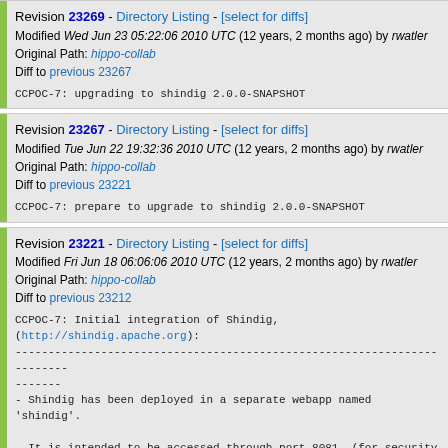Revision 23269 - Directory Listing - [select for diffs]
Modified Wed Jun 23 05:22:06 2010 UTC (12 years, 2 months ago) by rwatler
Original Path: hippo-collab
Diff to previous 23267
CCPOC-7: upgrading to shindig 2.0.0-SNAPSHOT
Revision 23267 - Directory Listing - [select for diffs]
Modified Tue Jun 22 19:32:36 2010 UTC (12 years, 2 months ago) by rwatler
Original Path: hippo-collab
Diff to previous 23221
CCPOC-7: prepare to upgrade to shindig 2.0.0-SNAPSHOT
Revision 23221 - Directory Listing - [select for diffs]
Modified Fri Jun 18 06:06:06 2010 UTC (12 years, 2 months ago) by rwatler
Original Path: hippo-collab
Diff to previous 23212
CCPOC-7: Initial integration of Shindig,
(http://shindig.apache.org):
------------------------------------------------------------------------
-------
- Shindig has been deployed in a separate webapp named 'shindig'.

- It is intended to be accessed through port 8081, (for security reasons
  it should not be available on port 8080). This is not yet enforced
with filters, but on the Java part in the http://...